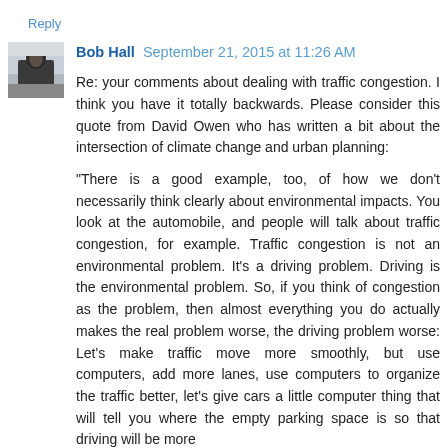Reply
[Figure (photo): Avatar photo of Bob Hall — person in winter outdoor setting, black and white style]
Bob Hall  September 21, 2015 at 11:26 AM
Re: your comments about dealing with traffic congestion. I think you have it totally backwards. Please consider this quote from David Owen who has written a bit about the intersection of climate change and urban planning:
"There is a good example, too, of how we don't necessarily think clearly about environmental impacts. You look at the automobile, and people will talk about traffic congestion, for example. Traffic congestion is not an environmental problem. It's a driving problem. Driving is the environmental problem. So, if you think of congestion as the problem, then almost everything you do actually makes the real problem worse, the driving problem worse: Let's make traffic move more smoothly, but use computers, add more lanes, use computers to organize the traffic better, let's give cars a little computer thing that will tell you where the empty parking space is so that driving will be more